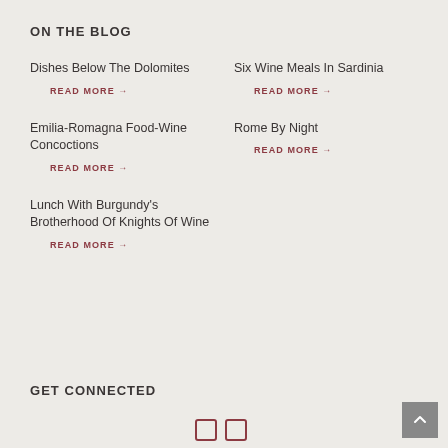ON THE BLOG
Dishes Below The Dolomites
READ MORE →
Six Wine Meals In Sardinia
READ MORE →
Emilia-Romagna Food-Wine Concoctions
READ MORE →
Rome By Night
READ MORE →
Lunch With Burgundy's Brotherhood Of Knights Of Wine
READ MORE →
GET CONNECTED